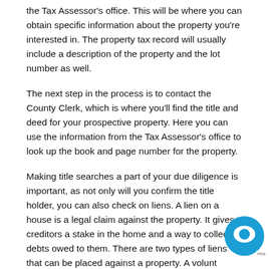the Tax Assessor's office. This will be where you can obtain specific information about the property you're interested in. The property tax record will usually include a description of the property and the lot number as well.
The next step in the process is to contact the County Clerk, which is where you'll find the title and deed for your prospective property. Here you can use the information from the Tax Assessor's office to look up the book and page number for the property.
Making title searches a part of your due diligence is important, as not only will you confirm the title holder, you can also check on liens. A lien on a house is a legal claim against the property. It gives creditors a stake in the home and a way to collect debts owed to them. There are two types of liens that can be placed against a property. A voluntary lien is a lien the homeowner agrees to – like a mortgage. An involuntary lien is typically placed on a property due to unpaid obligations like a tax bill or a home improvement...